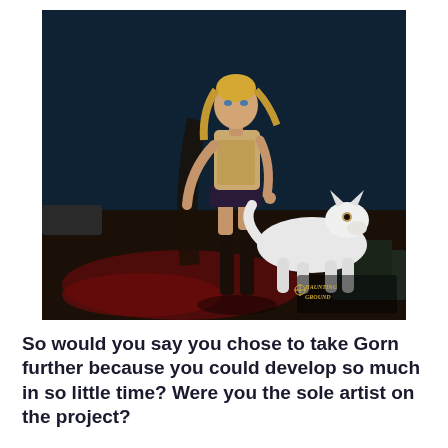[Figure (illustration): 3D rendered game art showing a young blonde female character in medieval fantasy clothing with a white wolf/dog companion. The scene is dark with stone ground and red-stained floor. A game logo reading 'Haunting Ground' is visible in the lower right corner.]
So would you say you chose to take Gorn further because you could develop so much in so little time? Were you the sole artist on the project?